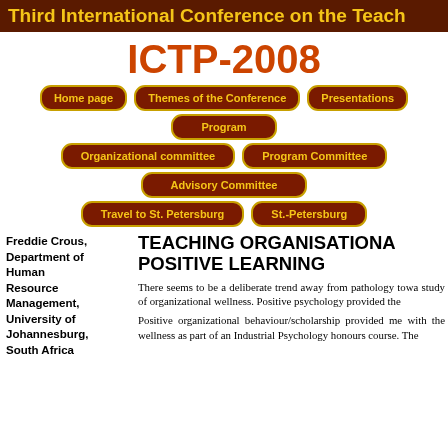Third International Conference on the Teach
ICTP-2008
Home page | Themes of the Conference | Presentations | Program | Organizational committee | Program Committee | Advisory Committee | Travel to St. Petersburg | St.-Petersburg
Freddie Crous, Department of Human Resource Management, University of Johannesburg, South Africa
TEACHING ORGANISATIONA POSITIVE LEARNING
There seems to be a deliberate trend away from pathology towa study of organizational wellness. Positive psychology provided the
Positive organizational behaviour/scholarship provided me with the wellness as part of an Industrial Psychology honours course. The